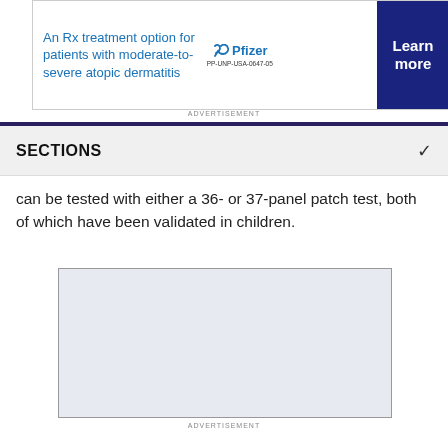[Figure (other): Pfizer advertisement banner for an Rx treatment option for patients with moderate-to-severe atopic dermatitis, with a Learn more button]
ADVERTISEMENT
SECTIONS
can be tested with either a 36- or 37-panel patch test, both of which have been validated in children.
[Figure (other): Advertisement placeholder box (light blue-grey rectangle)]
ADVERTISEMENT